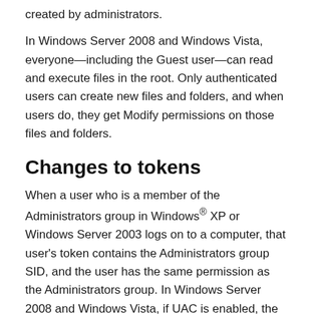created by administrators.
In Windows Server 2008 and Windows Vista, everyone—including the Guest user—can read and execute files in the root. Only authenticated users can create new files and folders, and when users do, they get Modify permissions on those files and folders.
Changes to tokens
When a user who is a member of the Administrators group in Windows® XP or Windows Server 2003 logs on to a computer, that user's token contains the Administrators group SID, and the user has the same permission as the Administrators group. In Windows Server 2008 and Windows Vista, if UAC is enabled, the Administrators SID is still present in the token but is set to Deny only. When performing access control, such an entry in the token is